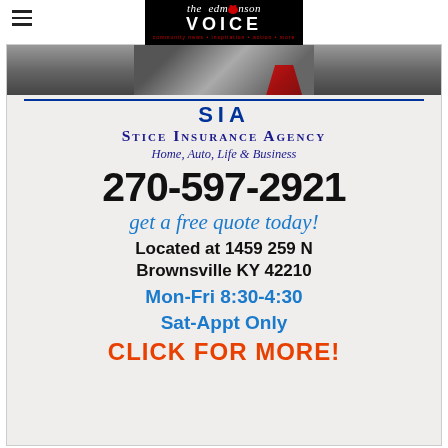the Edmonson VOICE
[Figure (photo): Partial photo of a person wearing a suit and tie, cropped at the top]
SIA
Stice Insurance Agency
Home, Auto, Life & Business
270-597-2921
get a free quote today!
Located at 1459 259 N
Brownsville KY 42210
Mon-Fri 8:30-4:30
Sat-Appt Only
CLICK FOR MORE!